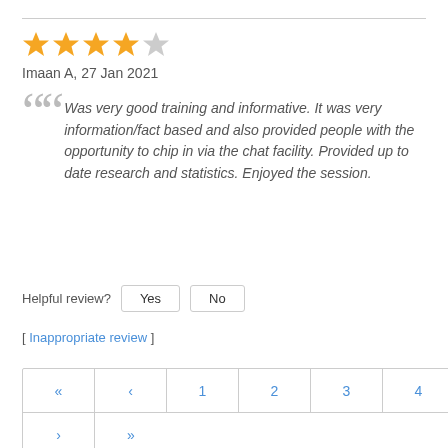[Figure (other): Star rating: 4 out of 5 gold stars]
Imaan A, 27 Jan 2021
Was very good training and informative. It was very information/fact based and also provided people with the opportunity to chip in via the chat facility. Provided up to date research and statistics. Enjoyed the session.
Helpful review? Yes No
[ Inappropriate review ]
« ‹ 1 2 3 4 5 6 7 8 9 10 › »